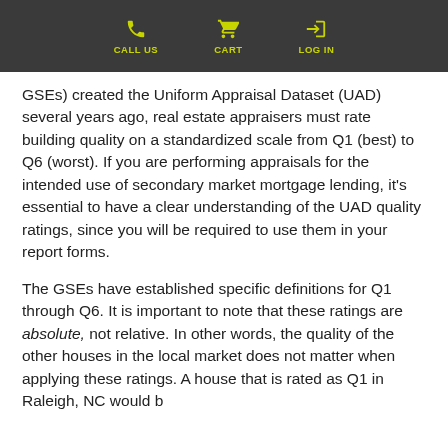CALL US  CART  LOG IN
GSEs) created the Uniform Appraisal Dataset (UAD) several years ago, real estate appraisers must rate building quality on a standardized scale from Q1 (best) to Q6 (worst). If you are performing appraisals for the intended use of secondary market mortgage lending, it’s essential to have a clear understanding of the UAD quality ratings, since you will be required to use them in your report forms.
The GSEs have established specific definitions for Q1 through Q6. It is important to note that these ratings are absolute, not relative. In other words, the quality of the other houses in the local market does not matter when applying these ratings. A house that is rated as Q1 in Raleigh, NC would be...